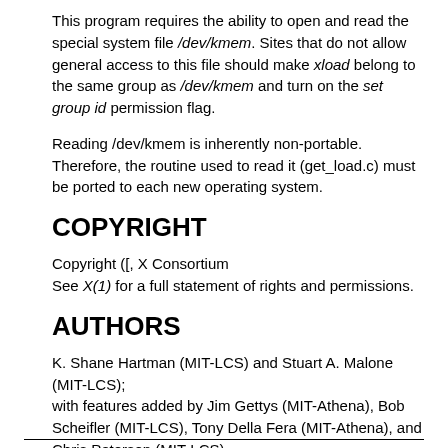This program requires the ability to open and read the special system file /dev/kmem. Sites that do not allow general access to this file should make xload belong to the same group as /dev/kmem and turn on the set group id permission flag.
Reading /dev/kmem is inherently non-portable. Therefore, the routine used to read it (get_load.c) must be ported to each new operating system.
COPYRIGHT
Copyright ([, X Consortium
See X(1) for a full statement of rights and permissions.
AUTHORS
K. Shane Hartman (MIT-LCS) and Stuart A. Malone (MIT-LCS);
with features added by Jim Gettys (MIT-Athena), Bob Scheifler (MIT-LCS), Tony Della Fera (MIT-Athena), and Chris Peterson (MIT-LCS).